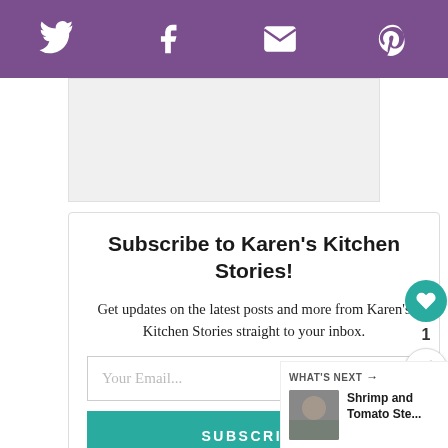[Figure (infographic): Purple social media sharing bar with Twitter, Facebook, Email, and Pinterest icons in white]
[Figure (other): Light gray advertisement placeholder box]
Subscribe to Karen's Kitchen Stories!
Get updates on the latest posts and more from Karen's Kitchen Stories straight to your inbox.
Your Email...
SUBSCRIBE